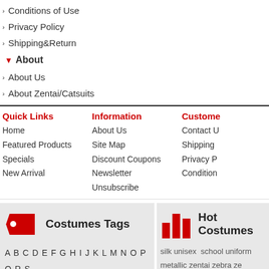Conditions of Use
Privacy Policy
Shipping&Return
About
About Us
About Zentai/Catsuits
Quick Links
Home
Featured Products
Specials
New Arrival
Information
About Us
Site Map
Discount Coupons
Newsletter Unsubscribe
Customer
Contact Us
Shipping
Privacy Policy
Conditions
[Figure (infographic): Red tag icon for Costumes Tags section]
Costumes Tags
A B C D E F G H I J K L M N O P Q R S T U V W X Y Z 0-9
Buy wholesalse zentai suit,catsuits,superhero costumes and other accessories at wholesale price from Chinese wholesalers,enjoy online wholesale and become a wholesaler now!
[Figure (infographic): Red bar chart icon for Hot Costumes section]
Hot Costumes
silk unisex school uniform metallic zentai zebra ze... cosplay catsui... me... black spandex ...blue... superhero shiny silver s... spandex s-guy sky sup...